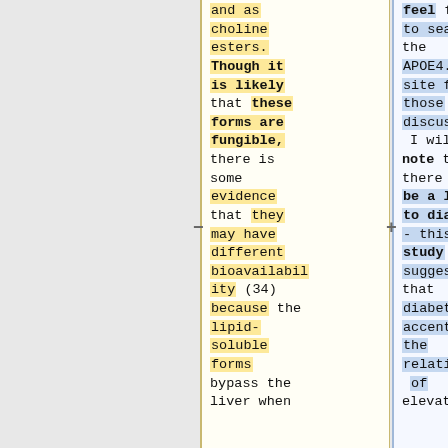and as choline esters. Though it is likely that these forms are fungible, there is some evidence that they may have different bioavailability (34) because the lipid-soluble forms bypass the liver when
feel free to search the APOE4.info site for those discussions. I will note that there might be a link to diabetes - this study is suggesting that diabetes accentuates the relationship of elevated